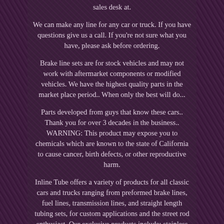sales desk at.
We can make any line for any car or truck. If you have questions give us a call. If you're not sure what you have, please ask before ordering.
Brake line sets are for stock vehicles and may not work with aftermarket components or modified vehicles. We have the highest quality parts in the market place period.. When only the best will do...
Parts developed from guys that know these cars.. Thank you for over 3 decades in the business.. WARNING: This product may expose you to chemicals which are known to the state of California to cause cancer, birth defects, or other reproductive harm.
Inline Tube offers a variety of products for all classic cars and trucks ranging from preformed brake lines, fuel lines, transmission lines, and straight length tubing sets, for custom applications and the street rod enthusiast. Our exclusive products include: stainless steel and OEM parking brake cables, brake line and fuel line clips, stainless and OEM brake flex hoses, proportioning valves, disc brake conversions, rear drum kits, exhaust and many other under body products. These lines also have correct